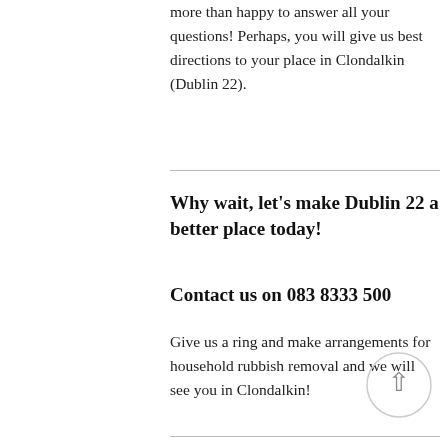more than happy to answer all your questions! Perhaps, you will give us best directions to your place in Clondalkin (Dublin 22).
Why wait, let's make Dublin 22 a better place today!
Contact us on 083 8333 500
Give us a ring and make arrangements for household rubbish removal and we will see you in Clondalkin!